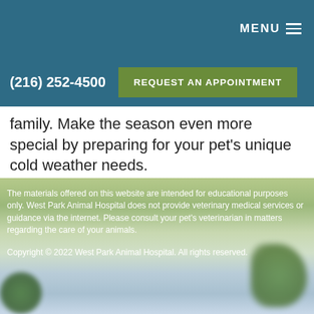MENU
(216) 252-4500
REQUEST AN APPOINTMENT
family. Make the season even more special by preparing for your pet's unique cold weather needs.
The materials offered on this website are intended for educational purposes only. West Park Animal Hospital does not provide veterinary medical services or guidance via the internet. Please consult your pet's veterinarian in matters regarding the care of your animals.
Copyright © 2022 West Park Animal Hospital. All rights reserved.